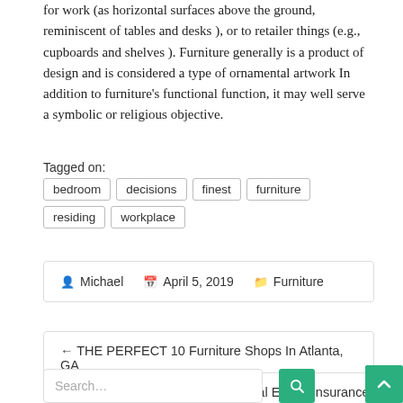for work (as horizontal surfaces above the ground, reminiscent of tables and desks ), or to retailer things (e.g., cupboards and shelves ). Furniture generally is a product of design and is considered a type of ornamental artwork In addition to furniture's functional function, it may well serve a symbolic or religious objective.
Tagged on:
bedroom
decisions
finest
furniture
residing
workplace
Michael   April 5, 2019   Furniture
← THE PERFECT 10 Furniture Shops In Atlanta, GA
Real Estate Insurance →